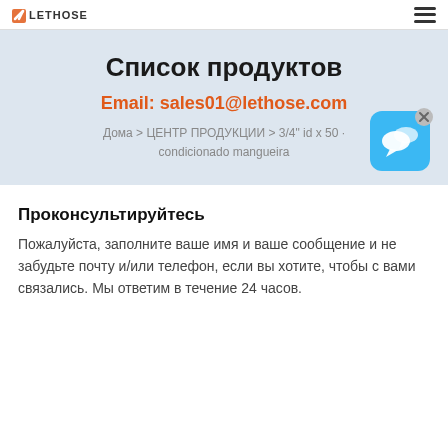LETHOSE logo and hamburger menu
Список продуктов
Email: sales01@lethose.com
Дома > ЦЕНТР ПРОДУКЦИИ > 3/4" id x 50 · condicionado mangueira
[Figure (illustration): Blue chat bubble icon with an X close button in the top right corner]
Проконсультируйтесь
Пожалуйста, заполните ваше имя и ваше сообщение и не забудьте почту и/или телефон, если вы хотите, чтобы с вами связались. Мы ответим в течение 24 часов.